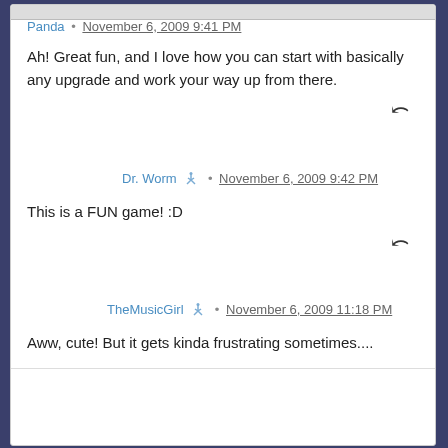Panda · November 6, 2009 9:41 PM
Ah! Great fun, and I love how you can start with basically any upgrade and work your way up from there.
Dr. Worm · November 6, 2009 9:42 PM
This is a FUN game! :D
TheMusicGirl · November 6, 2009 11:18 PM
Aww, cute! But it gets kinda frustrating sometimes....